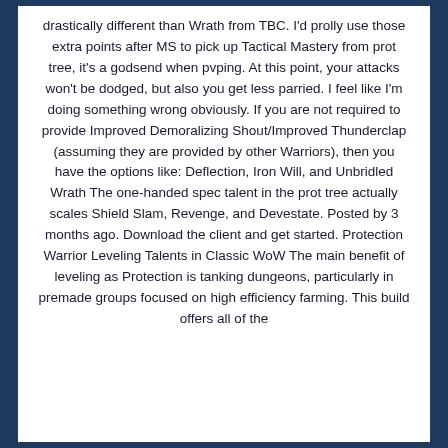drastically different than Wrath from TBC. I'd prolly use those extra points after MS to pick up Tactical Mastery from prot tree, it's a godsend when pvping. At this point, your attacks won't be dodged, but also you get less parried. I feel like I'm doing something wrong obviously. If you are not required to provide Improved Demoralizing Shout/Improved Thunderclap (assuming they are provided by other Warriors), then you have the options like: Deflection, Iron Will, and Unbridled Wrath The one-handed spec talent in the prot tree actually scales Shield Slam, Revenge, and Devestate. Posted by 3 months ago. Download the client and get started. Protection Warrior Leveling Talents in Classic WoW The main benefit of leveling as Protection is tanking dungeons, particularly in premade groups focused on high efficiency farming. This build offers all of the